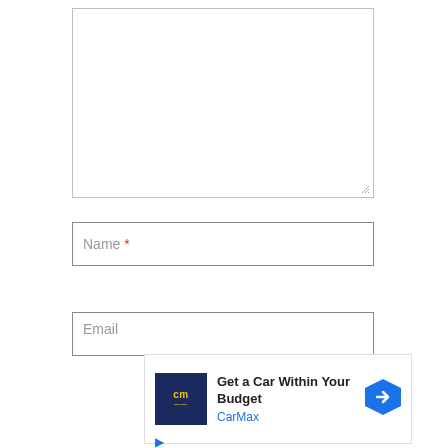[Figure (screenshot): Empty textarea input field with resize handle at bottom-right corner]
[Figure (screenshot): Name text input field with placeholder text 'Name' and red asterisk required indicator]
[Figure (screenshot): Partially visible Email input field at bottom]
[Figure (screenshot): CarMax advertisement overlay with logo, text 'Get a Car Within Your Budget', brand name 'CarMax', and navigation arrow icon]